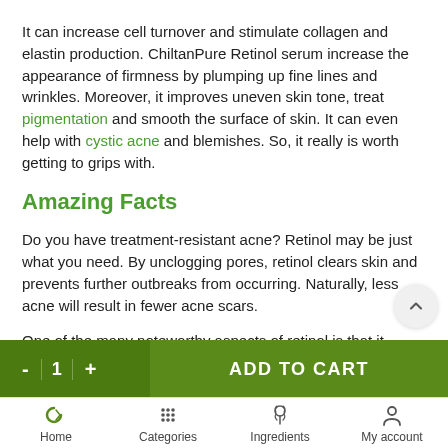It can increase cell turnover and stimulate collagen and elastin production. ChiltanPure Retinol serum increase the appearance of firmness by plumping up fine lines and wrinkles. Moreover, it improves uneven skin tone, treat pigmentation and smooth the surface of skin. It can even help with cystic acne and blemishes. So, it really is worth getting to grips with.
Amazing Facts
Do you have treatment-resistant acne? Retinol may be just what you need. By unclogging pores, retinol clears skin and prevents further outbreaks from occurring. Naturally, less acne will result in fewer acne scars.
One of the many noteworthy aspects of retinol is that it stimul skin cell turnover, which is manifested as a sort of “exfoliating”